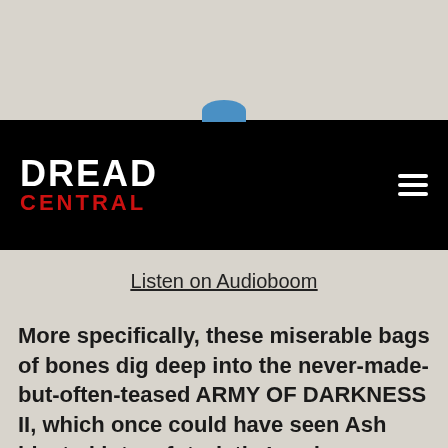[Figure (logo): Dread Central logo — white text DREAD above red text CENTRAL on black navigation bar]
Listen on Audioboom
More specifically, these miserable bags of bones dig deep into the never-made-but-often-teased ARMY OF DARKNESS II, which once could have seen Ash blasted into a futuristic London overrun by an army of soul-starved deadites...